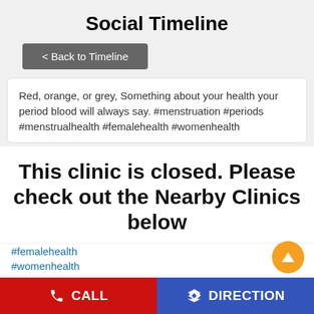Social Timeline
< Back to Timeline
Red, orange, or grey, Something about your health your period blood will always say. #menstruation #periods #menstrualhealth #femalehealth #womenhealth
This clinic is closed. Please check out the Nearby Clinics below
#femalehealth
#womenhealth
Posted On: 14 Oct 2020 8:12 PM
CALL   DIRECTION